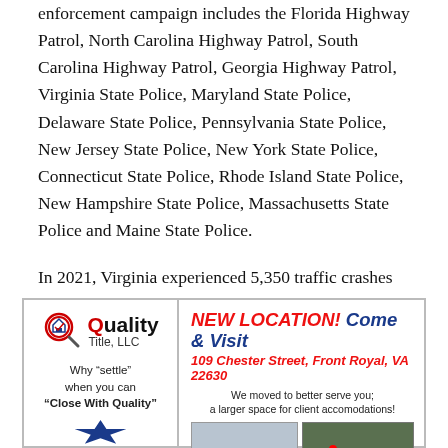enforcement campaign includes the Florida Highway Patrol, North Carolina Highway Patrol, South Carolina Highway Patrol, Georgia Highway Patrol, Virginia State Police, Maryland State Police, Delaware State Police, Pennsylvania State Police, New Jersey State Police, New York State Police, Connecticut State Police, Rhode Island State Police, New Hampshire State Police, Massachusetts State Police and Maine State Police.
In 2021, Virginia experienced 5,350 traffic crashes along I-95, which include everything from a minor fender-bender to the loss of life.
[Figure (infographic): Advertisement for Quality Title, LLC announcing new location at 109 Chester Street, Front Royal, VA 22630. Left side shows logo and tagline 'Why settle when you can Close With Quality'. Right side shows headline 'NEW LOCATION! Come & Visit', address, message about moving to better serve clients, and two building photos.]